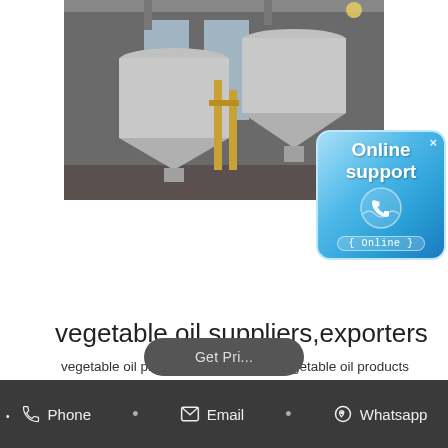[Figure (photo): Industrial facility interior with large stainless steel conical tanks/silos and pipes, likely oil processing equipment]
[Figure (infographic): Blue Online support badge with phone icon and '(Online)' text, with X close button]
vegetable oil suppliers,exporters
vegetable oil products directory and vegetable oil products Catalog. B2B Marketplace for vegetable oil suppliers, manufacturers,exporters, factories and global vegetable oil buyers provided by 21Food.
Phone  •  Email  •  Whatsapp